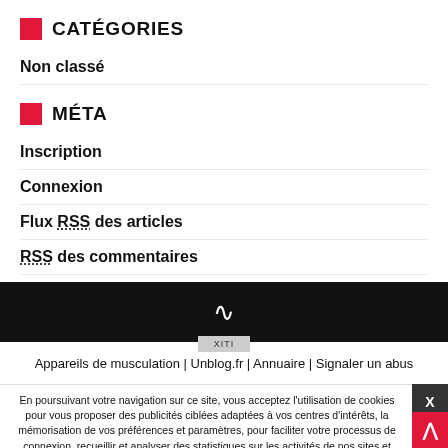CATÉGORIES
Non classé
MÉTA
Inscription
Connexion
Flux RSS des articles
RSS des commentaires
Appareils de musculation | Unblog.fr | Annuaire | Signaler un abus
En poursuivant votre navigation sur ce site, vous acceptez l'utilisation de cookies pour vous proposer des publicités ciblées adaptées à vos centres d'intérêts, la mémorisation de vos préférences et paramètres, pour faciliter votre processus de connexion, recueillir et analyser des statistiques sur les activités de nos sites et services et enfin collaborer avec des partenaires en hébergeant leurs contenus ou annonces publicitaires. Pour en savoir plus et paramétrer les cookies, cliquez ici.